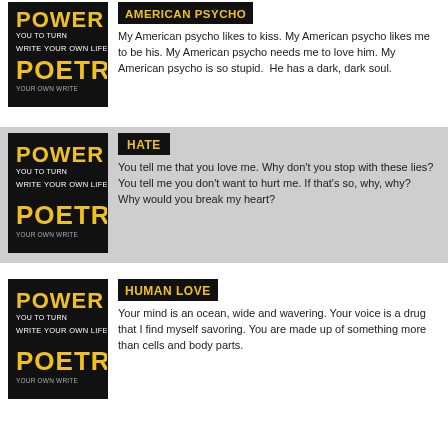[Figure (illustration): Power Poetry book cover - black background with stylized text]
AMERICAN PSYCHO
My American psycho likes to kiss. My American psycho likes me to be his. My American psycho needs me to love him. My American psycho is so stupid.  He has a dark, dark soul.
[Figure (illustration): Power Poetry book cover - black background with stylized text]
HATE
You tell me that you love me. Why don't you stop with these lies? You tell me you don't want to hurt me. If that's so, why, why?  Why would you break my heart?
[Figure (illustration): Power Poetry book cover - black background with stylized text]
HUMAN LOVE
Your mind is an ocean, wide and wavering. Your voice is a drug that I find myself savoring. You are made up of something more than cells and body parts.